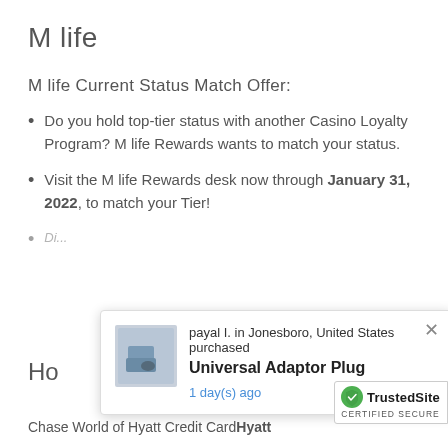M life
M life Current Status Match Offer:
Do you hold top-tier status with another Casino Loyalty Program? M life Rewards wants to match your status.
Visit the M life Rewards desk now through January 31, 2022, to match your Tier!
(partially obscured)
Ho...
[Figure (screenshot): Popup notification: payal I. in Jonesboro, United States purchased Universal Adaptor Plug, 1 day(s) ago. Close button (X) in top right. Product image on left.]
Chase World of Hyatt Credit Card Hyatt
[Figure (logo): TrustedSite Certified Secure badge with green shield icon]